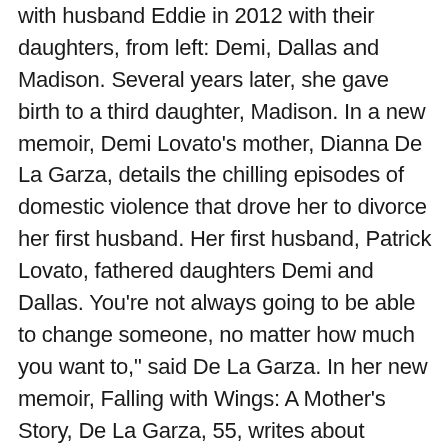with husband Eddie in 2012 with their daughters, from left: Demi, Dallas and Madison. Several years later, she gave birth to a third daughter, Madison. In a new memoir, Demi Lovato's mother, Dianna De La Garza, details the chilling episodes of domestic violence that drove her to divorce her first husband. Her first husband, Patrick Lovato, fathered daughters Demi and Dallas. You're not always going to be able to change someone, no matter how much you want to," said De La Garza. In her new memoir, Falling with Wings: A Mother's Story, De La Garza, 55, writes about surviving domestic violence at the hands of her first husband, Patrick Lovato, whom she wed in 1984. Best known as the mother of actress and internationally renowned pop singer Demi Lovato. Dianna De La Garza with husband Eddie in 2012 with their daughters, from left: Demi, Dallas and Madison. #fallingwithwings #march6th2018 #preordernow A post shared by Dianna De La Garza (@diannadelagarza) on Oct 12, 2017 at 12:32pm